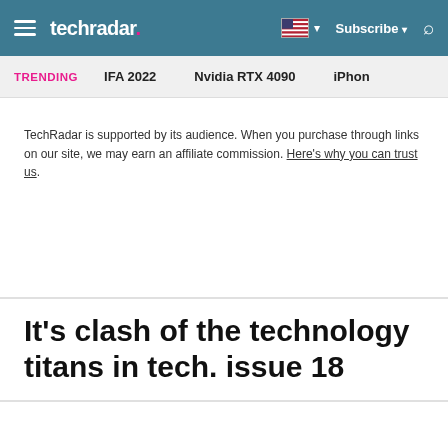techradar — Subscribe
TRENDING   IFA 2022   Nvidia RTX 4090   iPhon
TechRadar is supported by its audience. When you purchase through links on our site, we may earn an affiliate commission. Here's why you can trust us.
It's clash of the technology titans in tech. issue 18